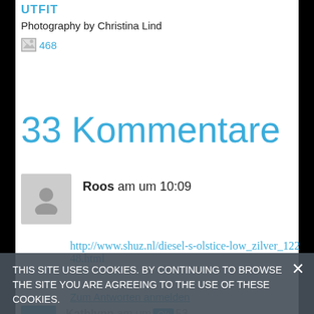UTFIT
Photography by Christina Lind
[Figure (photo): Broken image placeholder icon with text '468']
33 Kommentare
Roos am um 10:09
http://www.shuz.nl/diesel-s-olstice-low_zilver_12248.html
Zum Antworten anmelden
THIS SITE USES COOKIES. BY CONTINUING TO BROWSE THE SITE YOU ARE AGREEING TO THE USE OF THESE COOKIES.
Kathlynn am um OK 53